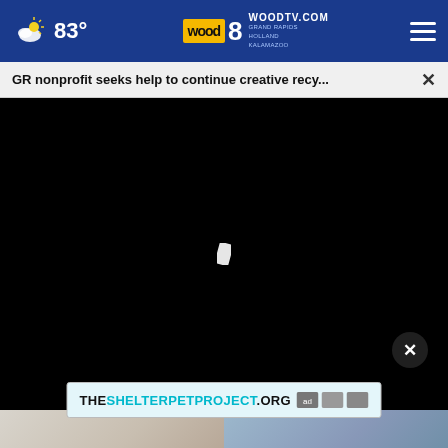83° WOODTV.COM GRAND RAPIDS HOLLAND KALAMAZOO
GR nonprofit seeks help to continue creative recy...
[Figure (screenshot): Black video player area with a small white loading cursor/spinner icon in the center]
[Figure (photo): Bottom portion of page showing a partial indoor photo and an advertisement overlay reading THESHELTERPETPROJECT.ORG with ad council logos]
THESHELTERPETPROJECT.ORG